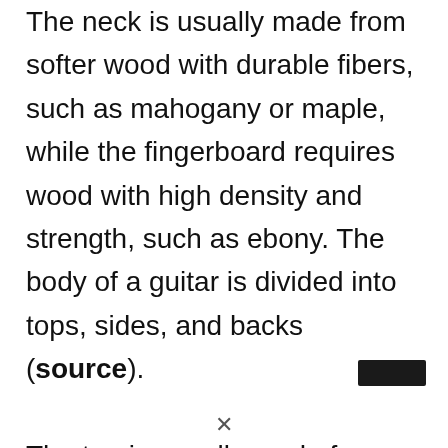The neck is usually made from softer wood with durable fibers, such as mahogany or maple, while the fingerboard requires wood with high density and strength, such as ebony. The body of a guitar is divided into tops, sides, and backs (source).
The top is usually made from a resonant wood, such as spruce or cedar. The sides and back don't need this resonance and are often made from mahogany or rosewood.